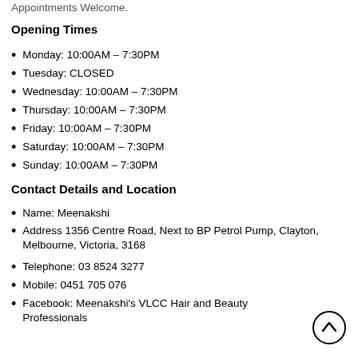Appointments Welcome.
Opening Times
Monday: 10:00AM – 7:30PM
Tuesday: CLOSED
Wednesday: 10:00AM – 7:30PM
Thursday: 10:00AM – 7:30PM
Friday: 10:00AM – 7:30PM
Saturday: 10:00AM – 7:30PM
Sunday: 10:00AM – 7:30PM
Contact Details and Location
Name: Meenakshi
Address 1356 Centre Road, Next to BP Petrol Pump, Clayton, Melbourne, Victoria, 3168
Telephone: 03 8524 3277
Mobile: 0451 705 076
Facebook: Meenakshi's VLCC Hair and Beauty Professionals